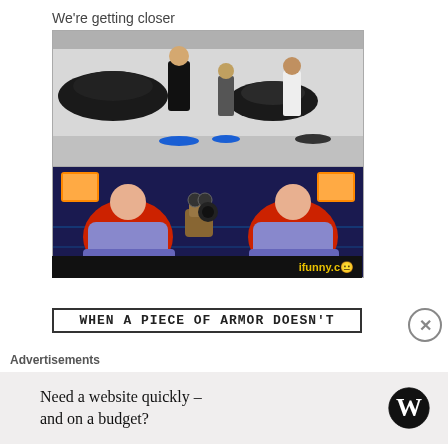We're getting closer
[Figure (photo): Two-part meme image. Top: three people riding hoverboards in a parking garage. Bottom: WALL-E style animated scene with overweight humans riding hover chairs and a robot, from the movie WALL-E. Bottom bar has 'ifunny.ce' watermark.]
WHEN A PIECE OF ARMOR DOESN'T
Advertisements
Need a website quickly – and on a budget?